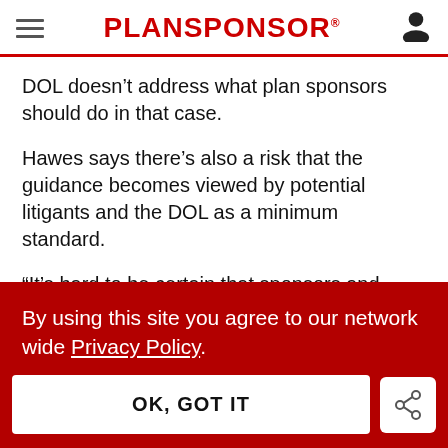PLANSPONSOR
DOL doesn’t address what plan sponsors should do in that case.
Hawes says there’s also a risk that the guidance becomes viewed by potential litigants and the DOL as a minimum standard.
“It’s hard to be certain that sponsors and
By using this site you agree to our network wide Privacy Policy.
OK, GOT IT